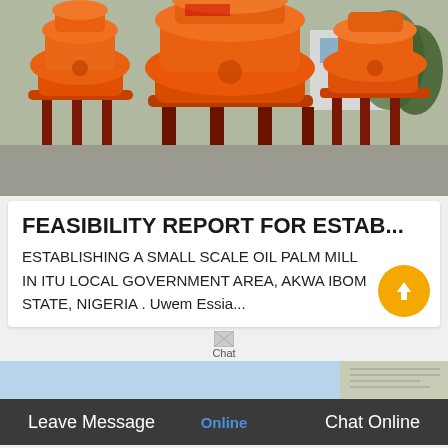[Figure (photo): Orange industrial oil palm milling machines (vertical disc mills) on legs, arranged in a factory/outdoor yard in China. Multiple large orange machines visible with a building in background.]
FEASIBILITY REPORT FOR ESTAB...
ESTABLISHING A SMALL SCALE OIL PALM MILL IN ITU LOCAL GOVERNMENT AREA, AKWA IBOM STATE, NIGERIA . Uwem Essia...
[Figure (screenshot): Chat icon with broken image placeholder and 'Chat' label]
Leave Message   Online   Chat Online